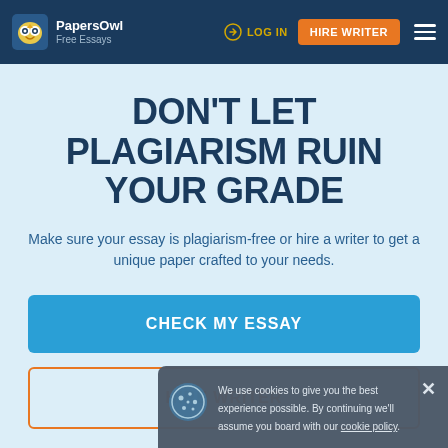PapersOwl Free Essays | LOG IN | HIRE WRITER
DON'T LET PLAGIARISM RUIN YOUR GRADE
Make sure your essay is plagiarism-free or hire a writer to get a unique paper crafted to your needs.
CHECK MY ESSAY
HIRE WRITER
We use cookies to give you the best experience possible. By continuing we'll assume you board with our cookie policy.